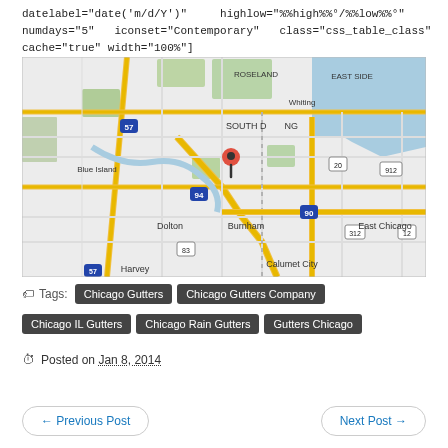datelabel="date('m/d/Y')"      highlow="%%high%%°/%%low%%°" numdays="5"   iconset="Contemporary"   class="css_table_class" cache="true" width="100%"]
[Figure (map): Google Maps view centered on South Deering area of Chicago, showing surrounding neighborhoods including Blue Island, Dolton, Burnham, Harvey, Calumet City, East Chicago, Whiting, and East Side. A red map pin marker is placed near South Deering. Major highways I-57, I-94, I-90, Route 20, Route 83, Route 312, Route 912, and Route 12 are visible.]
Tags: Chicago Gutters   Chicago Gutters Company   Chicago IL Gutters   Chicago Rain Gutters   Gutters Chicago
Posted on Jan 8, 2014
← Previous Post
Next Post →